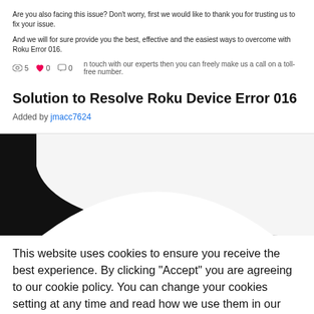Are you also facing this issue? Don't worry, first we would like to thank you for trusting us to fix your issue.
And we will for sure provide you the best, effective and the easiest ways to overcome with Roku Error 016.
5  0  0   n touch with our experts then you can freely make us a call on a toll-free number.
Solution to Resolve Roku Device Error 016
Added by jmacc7624
[Figure (photo): Black and white abstract curved shapes, likely part of a logo or decorative image — partially cropped, showing arc/curve shapes against white background.]
This website uses cookies to ensure you receive the best experience. By clicking "Accept" you are agreeing to our cookie policy. You can change your cookies setting at any time and read how we use them in our Privacy & Cookies Policy.
Accept   Learn more